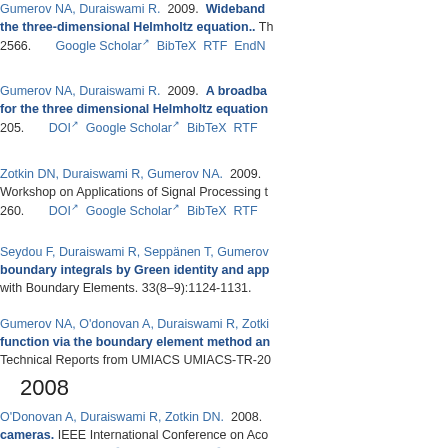Gumerov NA, Duraiswami R. 2009. Wideband ... the three-dimensional Helmholtz equation.. ... 2566. Google Scholar BibTeX RTF EndN...
Gumerov NA, Duraiswami R. 2009. A broadba... for the three dimensional Helmholtz equation... 205. DOI Google Scholar BibTeX RTF
Zotkin DN, Duraiswami R, Gumerov NA. 2009. Workshop on Applications of Signal Processing t... 260. DOI Google Scholar BibTeX RTF
Seydou F, Duraiswami R, Seppänen T, Gumerov... boundary integrals by Green identity and app... with Boundary Elements. 33(8–9):1124-1131.
Gumerov NA, O'donovan A, Duraiswami R, Zotki... function via the boundary element method an... Technical Reports from UMIACS UMIACS-TR-20...
2008
O'Donovan A, Duraiswami R, Zotkin DN. 2008. ...cameras. IEEE International Conference on Aco... :5284-5287. DOI Google Scholar BibT...